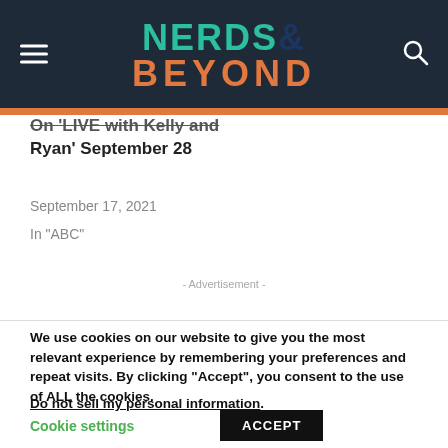[Figure (logo): Nerds & Beyond website logo with teal NERDS, dark blue ampersand, and orange BEYOND text on dark navy background]
On 'LIVE with Kelly and Ryan' September 28
September 17, 2021
In "ABC"
- Advertisement -
We use cookies on our website to give you the most relevant experience by remembering your preferences and repeat visits. By clicking “Accept”, you consent to the use of ALL the cookies.
Do not sell my personal information.
Cookie settings
ACCEPT